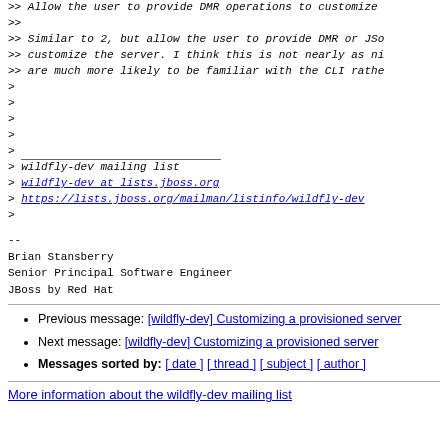>> Allow the user to provide DMR operations to customize the server.
>>
>> Similar to 2, but allow the user to provide DMR or JSon operations to customize the server. I think this is not nearly as nice, users are much more likely to be familiar with the CLI rather
>
>
>
>
> ___
> wildfly-dev mailing list
> wildfly-dev at lists.jboss.org
> https://lists.jboss.org/mailman/listinfo/wildfly-dev
>
--
Brian Stansberry
Senior Principal Software Engineer
JBoss by Red Hat
Previous message: [wildfly-dev] Customizing a provisioned server
Next message: [wildfly-dev] Customizing a provisioned server
Messages sorted by: [ date ] [ thread ] [ subject ] [ author ]
More information about the wildfly-dev mailing list